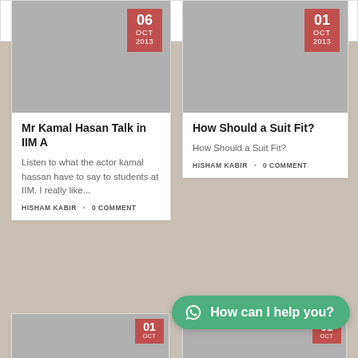HISHAM KABIR · 0 COMMENT
leadership... HISHAM KABIR · 0 COMMENT
[Figure (photo): Gray placeholder image for Mr Kamal Hasan Talk in IIM A post, dated 06 Oct 2013]
Mr Kamal Hasan Talk in IIM A
Listen to what the actor kamal hassan have to say to students at IIM. I really like...
HISHAM KABIR · 0 COMMENT
[Figure (photo): Gray placeholder image for How Should a Suit Fit? post, dated 01 Oct 2013]
How Should a Suit Fit?
How Should a Suit Fit?
HISHAM KABIR · 0 COMMENT
[Figure (screenshot): WhatsApp chat button overlay: How can I help you?]
[Figure (photo): Bottom partial card with date badge 01 OCT]
[Figure (photo): Bottom partial card with date badge 01 OCT]